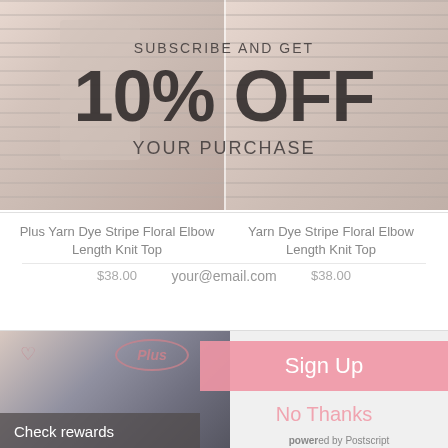[Figure (photo): Two women wearing striped knit tops, used as promotional background image]
SUBSCRIBE AND GET
10% OFF
YOUR PURCHASE
Plus Yarn Dye Stripe Floral Elbow Length Knit Top
Yarn Dye Stripe Floral Elbow Length Knit Top
$38.00
your@email.com
$38.00
[Figure (photo): Woman wearing dark clothing with Plus logo badge overlay]
Sign Up
No Thanks
Check rewards
powered by Postscript